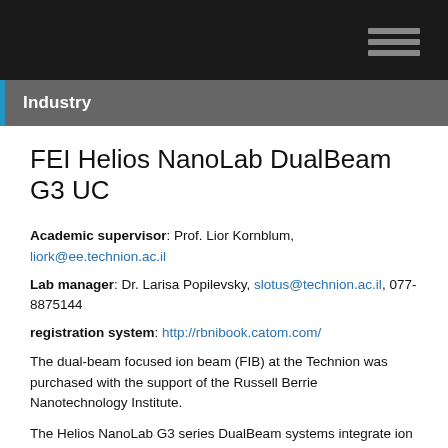Industry
FEI Helios NanoLab DualBeam G3 UC
Academic supervisor: Prof. Lior Kornblum, liork@ee.technion.ac.il
Lab manager: Dr. Larisa Popilevsky, slotus@technion.ac.il, 077-8875144
registration system: http://rbnibook.catom.com/
The dual-beam focused ion beam (FIB) at the Technion was purchased with the support of the Russell Berrie Nanotechnology Institute.
The Helios NanoLab G3 series DualBeam systems integrate ion and electron beams for FIB and SEM functionality in one machine. It enables switching between the two beams for quick and accurate navigation and milling. The convergence of the SEM and FIB at short working distance.